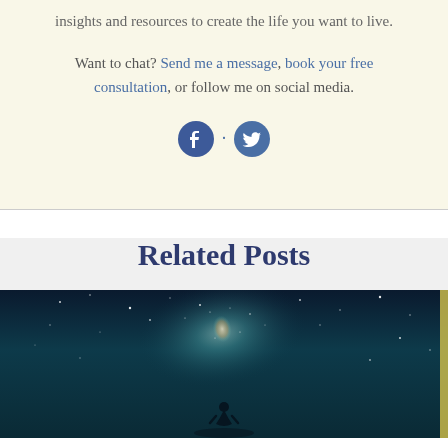insights and resources to create the life you want to live.
Want to chat? Send me a message, book your free consultation, or follow me on social media.
[Figure (illustration): Social media icons: Facebook and Twitter in dark blue, separated by a dot]
Related Posts
[Figure (photo): Night sky / Milky Way galaxy photo with a person silhouetted below, teal and dark blue tones]